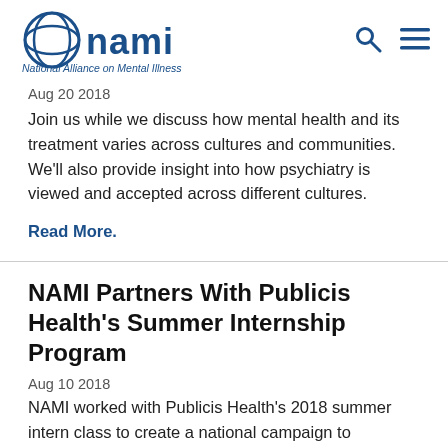NAMI National Alliance on Mental Illness
Aug 20 2018
Join us while we discuss how mental health and its treatment varies across cultures and communities. We'll also provide insight into how psychiatry is viewed and accepted across different cultures.
Read More.
NAMI Partners With Publicis Health's Summer Internship Program
Aug 10 2018
NAMI worked with Publicis Health's 2018 summer intern class to create a national campaign to destigmatize mental illness. The 80 participating